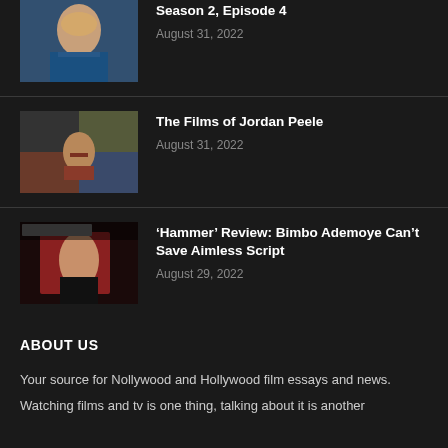[Figure (photo): Thumbnail of a woman with blonde hair wearing blue jacket, looking to the side]
'The Antidote' Little Lies Book Recap: Season 2, Episode 4
August 31, 2022
[Figure (photo): Collage thumbnail with multiple images including a man with glasses in red top]
The Films of Jordan Peele
August 31, 2022
[Figure (photo): Thumbnail of a woman in black outfit seated in a red chair, with text overlay]
‘Hammer’ Review: Bimbo Ademoye Can’t Save Aimless Script
August 29, 2022
ABOUT US
Your source for Nollywood and Hollywood film essays and news.
Watching films and tv is one thing, talking about it is another